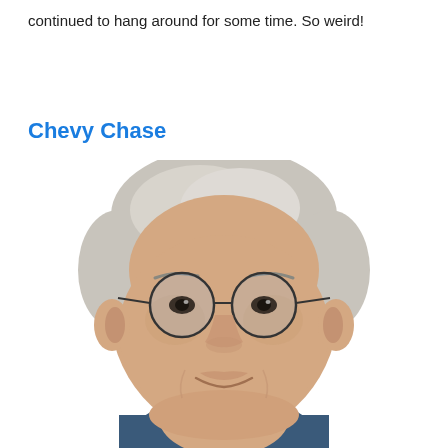continued to hang around for some time. So weird!
Chevy Chase
[Figure (photo): Headshot photo of Chevy Chase, an older man with silver-white hair, round wire-rimmed glasses with light blue tinted lenses, a slight smile, wearing a dark blue shirt, against a white background.]